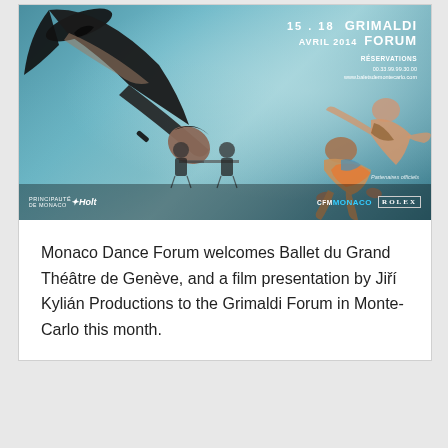[Figure (photo): Ballet/dance event poster for the Grimaldi Forum Monaco, 15-18 April 2014. Shows dramatic dance performers against a teal/blue flowing fabric background. Text overlay shows '15.18 GRIMALDI FORUM AVRIL 2014', reservations info. Bottom bar shows sponsors: Principauté de Monaco, Holt, Partenaires officiels, CFM Monaco, Rolex.]
Monaco Dance Forum welcomes Ballet du Grand Théâtre de Genève, and a film presentation by Jiří Kylián Productions to the Grimaldi Forum in Monte-Carlo this month.